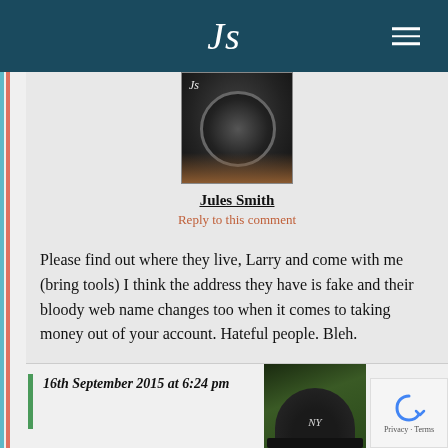Js
[Figure (photo): Profile photo of Jules Smith, dark circular camera lens or dark object visible]
Jules Smith
Reply to this comment
Please find out where they live, Larry and come with me (bring tools) I think the address they have is fake and their bloody web name changes too when it comes to taking money out of your account. Hateful people. Bleh.
16th September 2015 at 6:24 pm
[Figure (photo): Profile photo of next commenter wearing a NY Yankees cap]